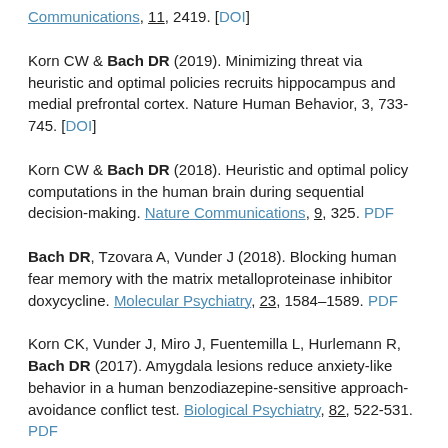Communications, 11, 2419. [DOI]
Korn CW & Bach DR (2019). Minimizing threat via heuristic and optimal policies recruits hippocampus and medial prefrontal cortex. Nature Human Behavior, 3, 733-745. [DOI]
Korn CW & Bach DR (2018). Heuristic and optimal policy computations in the human brain during sequential decision-making. Nature Communications, 9, 325. PDF
Bach DR, Tzovara A, Vunder J (2018). Blocking human fear memory with the matrix metalloproteinase inhibitor doxycycline. Molecular Psychiatry, 23, 1584–1589. PDF
Korn CK, Vunder J, Miro J, Fuentemilla L, Hurlemann R, Bach DR (2017). Amygdala lesions reduce anxiety-like behavior in a human benzodiazepine-sensitive approach-avoidance conflict test. Biological Psychiatry, 82, 522-531. PDF